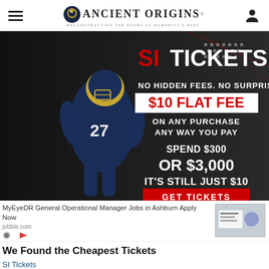Ancient Origins — Reconstructing the Story of Humanity's Past
[Figure (photo): SI Tickets advertisement banner. Dark background with a football player wearing jersey #27. Text reads: SI TICKETS, NO HIDDEN FEES. NO SURPRISES, $10 FLAT FEE, ON ANY PURCHASE ANY WAY YOU PAY, SPEND $300 OR $3,000 IT'S STILL JUST $10, GET TICKETS button.]
MyEyeDR General Operational Manager Jobs in Ashburn Apply Now
jobble.com
We Found the Cheapest Tickets
SI Tickets